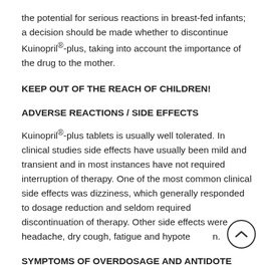the potential for serious reactions in breast-fed infants; a decision should be made whether to discontinue Kuinopril®-plus, taking into account the importance of the drug to the mother.
KEEP OUT OF THE REACH OF CHILDREN!
ADVERSE REACTIONS / SIDE EFFECTS
Kuinopril®-plus tablets is usually well tolerated. In clinical studies side effects have usually been mild and transient and in most instances have not required interruption of therapy. One of the most common clinical side effects was dizziness, which generally responded to dosage reduction and seldom required discontinuation of therapy. Other side effects were headache, dry cough, fatigue and hypotension.
SYMPTOMS OF OVERDOSAGE AND ANTIDOTE